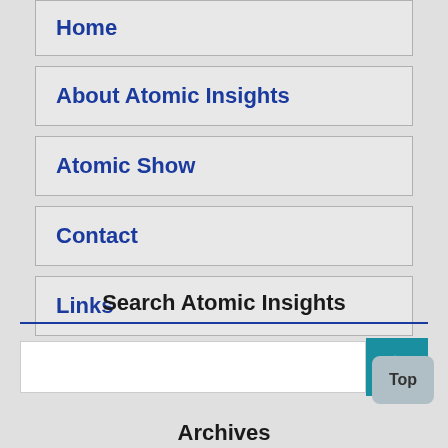Home
About Atomic Insights
Atomic Show
Contact
Links
Search Atomic Insights
Archives